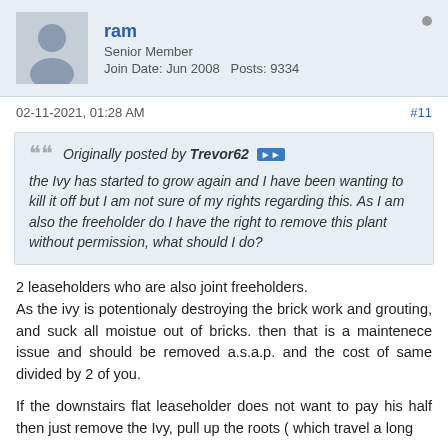ram | Senior Member | Join Date: Jun 2008  Posts: 9334
02-11-2021, 01:28 AM    #11
Originally posted by Trevor62
the Ivy has started to grow again and I have been wanting to kill it off but I am not sure of my rights regarding this. As I am also the freeholder do I have the right to remove this plant without permission, what should I do?
2 leaseholders who are also joint freeholders.
As the ivy is potentionaly destroying the brick work and grouting, and suck all moistue out of bricks. then that is a maintenece issue and should be removed a.s.a.p. and the cost of same divided by 2 of you.
If the downstairs flat leaseholder does not want to pay his half then just remove the Ivy, pull up the roots ( which travel a long